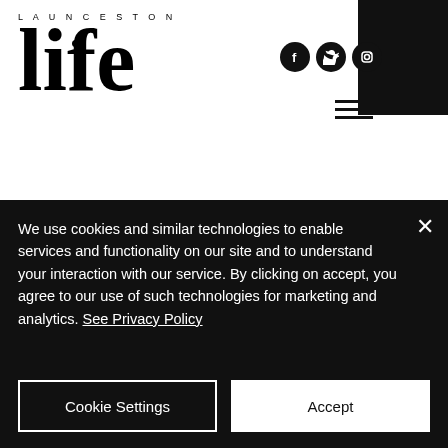LAUNCESTON life
All three of us at Launceston Life have been glued to our television screens watching this dramatic thriller on Netflix. Starring Simona Brown, Eve Hewson and Tom Bateman, the 6-episode series focuses on single mum Louise who begins an affair
We use cookies and similar technologies to enable services and functionality on our site and to understand your interaction with our service. By clicking on accept, you agree to our use of such technologies for marketing and analytics. See Privacy Policy